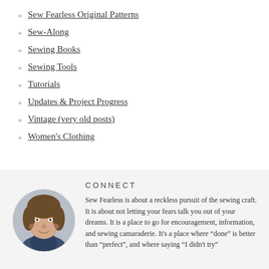» Sew Fearless Original Patterns
» Sew-Along
» Sewing Books
» Sewing Tools
» Tutorials
» Updates & Project Progress
» Vintage (very old posts)
» Women's Clothing
CONNECT
[Figure (photo): Circular portrait photo of a woman with brown hair wearing a blue knit cowl/scarf, smiling slightly]
Sew Fearless is about a reckless pursuit of the sewing craft. It is about not letting your fears talk you out of your dreams. It is a place to go for encouragement, information, and sewing camaraderie. It's a place where “done” is better than “perfect”, and where saying “I didn't try”